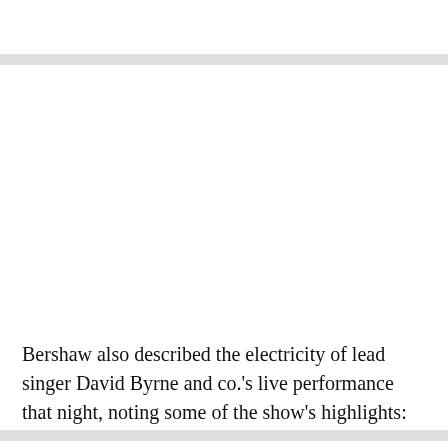Bershaw also described the electricity of lead singer David Byrne and co.'s live performance that night, noting some of the show's highlights: